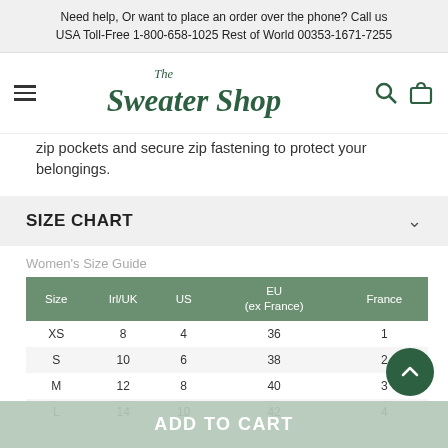Need help, Or want to place an order over the phone? Call us USA Toll-Free 1-800-658-1025 Rest of World 00353-1671-7255
[Figure (logo): The Sweater Shop logo with hamburger menu, search icon, and bag icon]
zip pockets and secure zip fastening to protect your belongings.
SIZE CHART
Women's Size Guide
| Size | Irl/UK | US | EU (ex France) | France |
| --- | --- | --- | --- | --- |
| XS | 8 | 4 | 36 | 1 |
| S | 10 | 6 | 38 | 2 |
| M | 12 | 8 | 40 | 3 |
| L | 14 | 10 | 42 | 4 |
ADD TO CART